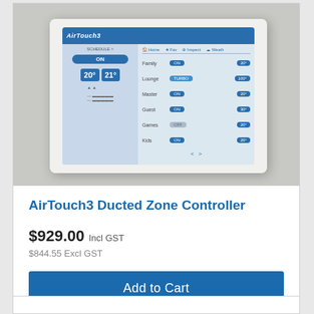[Figure (photo): AirTouch3 Ducted Zone Controller device mounted on a wall, showing a white touchscreen panel with blue interface displaying room zones (Family, Lounge, Master, Guest, Games, Kids) and temperature controls showing 20° and 21°]
AirTouch3 Ducted Zone Controller
$929.00 Incl GST
$844.55 Excl GST
Add to Cart